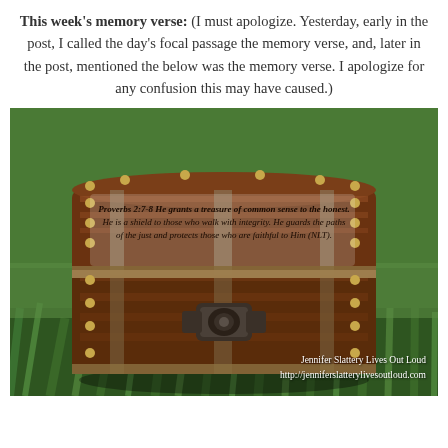This week's memory verse: (I must apologize. Yesterday, early in the post, I called the day's focal passage the memory verse, and, later in the post, mentioned the below was the memory verse. I apologize for any confusion this may have caused.)
[Figure (photo): A decorative wooden treasure chest sitting on green grass, with a scripture verse overlaid in cursive text: 'Proverbs 2:7-8 He grants a treasure of common sense to the honest. He is a shield to those who walk with integrity. He guards the paths of the just and protects those who are faithful to Him (NLT).' Watermark reads: Jennifer Slattery Lives Out Loud http://jenniferslatterylivesoutloud.com]